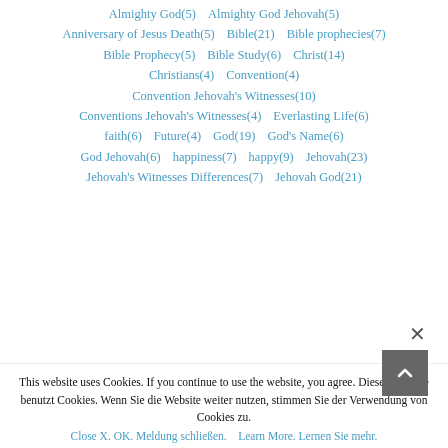Almighty God(5)
Almighty God Jehovah(5)
Anniversary of Jesus Death(5)
Bible(21)
Bible prophecies(7)
Bible Prophecy(5)
Bible Study(6)
Christ(14)
Christians(4)
Convention(4)
Convention Jehovah's Witnesses(10)
Conventions Jehovah's Witnesses(4)
Everlasting Life(6)
faith(6)
Future(4)
God(19)
God's Name(6)
God Jehovah(6)
happiness(7)
happy(9)
Jehovah(23)
Jehovah's Witnesses Differences(7)
Jehovah God(21)
This website uses Cookies. If you continue to use the website, you agree. Diese Webseite benutzt Cookies. Wenn Sie die Website weiter nutzen, stimmen Sie der Verwendung von Cookies zu.
Close X. OK. Meldung schließen.   Learn More. Lernen Sie mehr.